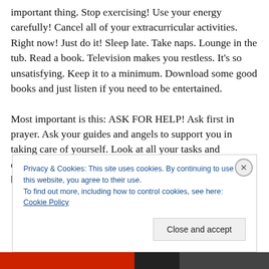important thing. Stop exercising! Use your energy carefully! Cancel all of your extracurricular activities. Right now! Just do it! Sleep late. Take naps. Lounge in the tub. Read a book. Television makes you restless. It's so unsatisfying. Keep it to a minimum. Download some good books and just listen if you need to be entertained.

Most important is this: ASK FOR HELP! Ask first in prayer. Ask your guides and angels to support you in taking care of yourself. Look at all your tasks and delegate. Don't just let everything pile up until you feel better. Every day ask
Privacy & Cookies: This site uses cookies. By continuing to use this website, you agree to their use.
To find out more, including how to control cookies, see here: Cookie Policy